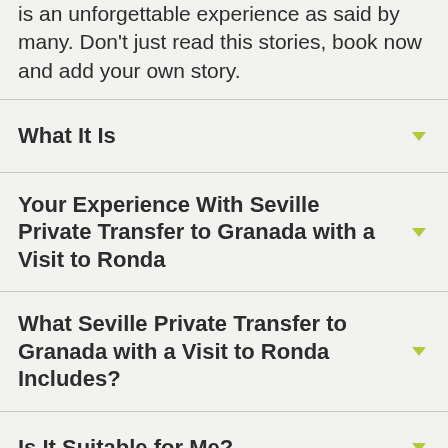is an unforgettable experience as said by many. Don't just read this stories, book now and add your own story.
What It Is
Your Experience With Seville Private Transfer to Granada with a Visit to Ronda
What Seville Private Transfer to Granada with a Visit to Ronda Includes?
Is It Suitable for Me?